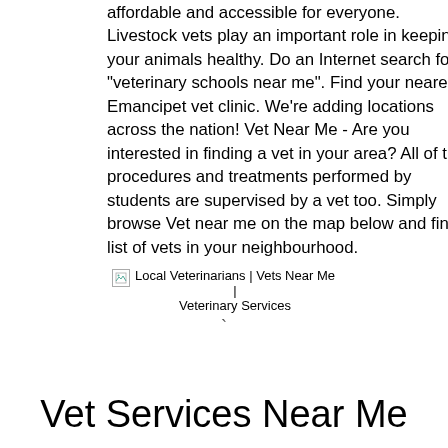affordable and accessible for everyone. Livestock vets play an important role in keeping your animals healthy. Do an Internet search for "veterinary schools near me". Find your nearest Emancipet vet clinic. We're adding locations across the nation! Vet Near Me - Are you interested in finding a vet in your area? All of the procedures and treatments performed by students are supervised by a vet too. Simply browse Vet near me on the map below and find a list of vets in your neighbourhood.
[Figure (screenshot): Broken image icon with alt text: Local Veterinarians | Vets Near Me | Veterinary Services]
Vet Services Near Me